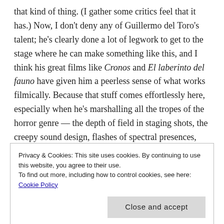that kind of thing. (I gather some critics feel that it has.) Now, I don't deny any of Guillermo del Toro's talent; he's clearly done a lot of legwork to get to the stage where he can make something like this, and I think his great films like Cronos and El laberinto del fauno have given him a peerless sense of what works filmically. Because that stuff comes effortlessly here, especially when he's marshalling all the tropes of the horror genre — the depth of field in staging shots, the creepy sound design, flashes of spectral presences, and then the full-on gory costumework. Because yes, there's a lot of gore here, whether explicit or suggested: much of the latter part of the film is set in a house whose walls and foundations seem to literally ooze blood.
Privacy & Cookies: This site uses cookies. By continuing to use this website, you agree to their use.
To find out more, including how to control cookies, see here: Cookie Policy
Close and accept
what is a Victorian-era gothic romance hat-tipping visually to